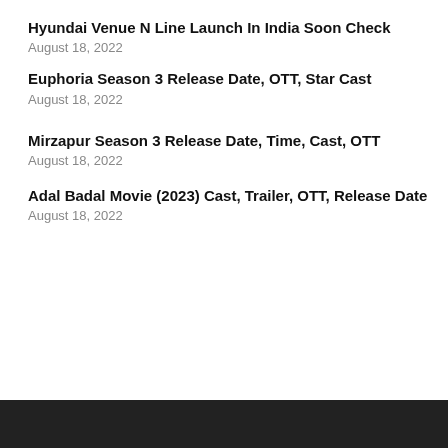Hyundai Venue N Line Launch In India Soon Check
August 18, 2022
Euphoria Season 3 Release Date, OTT, Star Cast
August 18, 2022
Mirzapur Season 3 Release Date, Time, Cast, OTT
August 18, 2022
Adal Badal Movie (2023) Cast, Trailer, OTT, Release Date
August 18, 2022